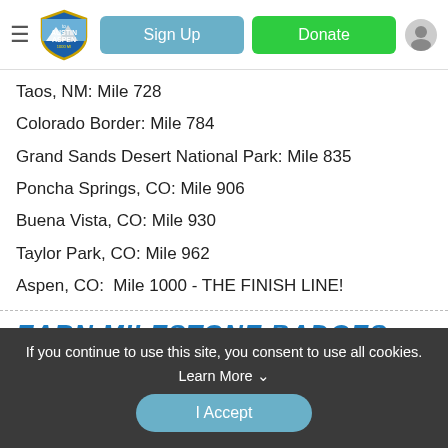Austin to Aspen — Sign Up | Donate
Taos, NM: Mile 728
Colorado Border: Mile 784
Grand Sands Desert National Park: Mile 835
Poncha Springs, CO: Mile 906
Buena Vista, CO: Mile 930
Taylor Park, CO: Mile 962
Aspen, CO:  Mile 1000 - THE FINISH LINE!
EARN MILESTONE BADGES
If you continue to use this site, you consent to use all cookies. Learn More ∨
I Accept